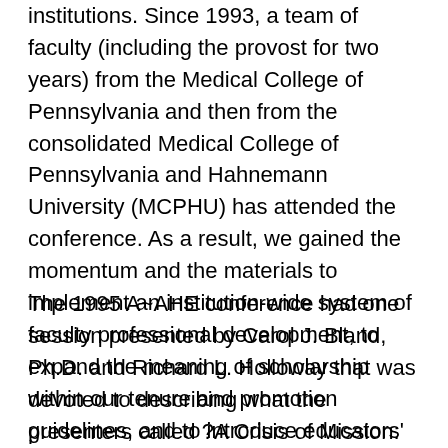institutions. Since 1993, a team of faculty (including the provost for two years) from the Medical College of Pennsylvania and then from the consolidated Medical College of Pennsylvania and Hahnemann University (MCPHU) has attended the conference. As a result, we gained the momentum and the materials to implement an institution-wide system of faculty professional development, to expand the meaning of scholarship within our tenure and promotion guidelines, and to introduce educators' portfolios and a system of faculty evaluation within several university departments.
The 1995 A~AHE conference had one session presented by Carol J. Bland, Ph.D. and Richard L. Holloway that was devoted to describing what the presenters called ?A Crisis of Mission: Faculty Roles and Rewards in an Era of Health Care Reform.(I) The session was later summarized in the AAHE